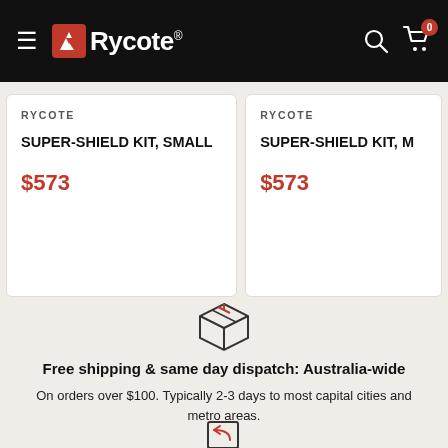[Figure (screenshot): Rycote website navigation bar with hamburger menu, Rycote logo, search icon, and cart icon with badge showing 0]
RYCOTE
SUPER-SHIELD KIT, SMALL
$573
RYCOTE
SUPER-SHIELD KIT, M...
$573
[Figure (illustration): Package/box delivery icon (line art)]
Free shipping & same day dispatch: Australia-wide
On orders over $100. Typically 2-3 days to most capital cities and metro areas.
[Figure (illustration): Shopping cart with return arrow icon (line art)]
Shop with peace of mind
Buy locally, knowing that you're purchasing a genuine Fostex product.